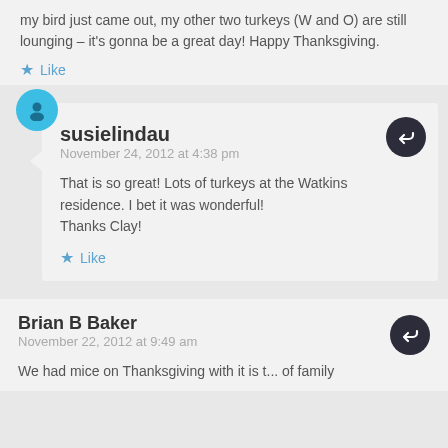my bird just came out, my other two turkeys (W and O) are still lounging – it's gonna be a great day! Happy Thanksgiving.
Like
susielindau
November 24, 2012 at 4:38 pm
That is so great! Lots of turkeys at the Watkins residence. I bet it was wonderful! Thanks Clay!
Like
Brian B Baker
November 22, 2012 at 9:49 am
We had mice on Thanksgiving with it is t... of family